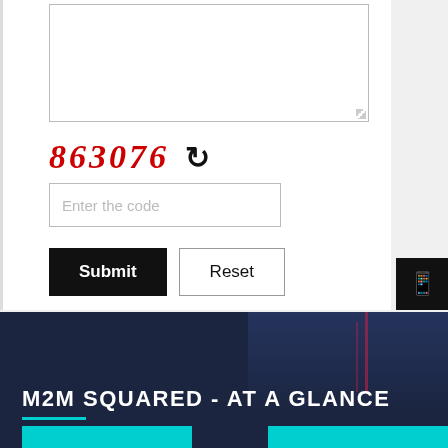[Figure (screenshot): A white form area with a textarea (empty, with resize handle), a CAPTCHA displaying '863076' in red distorted text with a refresh icon, an input field with placeholder 'Enter the code', and Submit and Reset buttons.]
[Figure (infographic): Dark navy blue section with text 'M2M SQUARED - AT A GLANCE' in white bold letters, an underline accent, and teal/cyan bars at the bottom. Right side icons panel visible on the right edge showing a mobile phone icon, a phone handset icon, and an @ email icon on black background.]
M2M SQUARED - AT A GLANCE